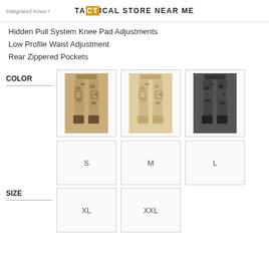Integrated Knee / TACTICAL STORE NEAR ME
Hidden Pull System Knee Pad Adjustments
Low Profile Waist Adjustment
Rear Zippered Pockets
[Figure (photo): Three color variants of tactical pants shown side by side: multicam, desert/tan camo, and dark/black camo]
[Figure (infographic): Size selection grid showing S, M, L, XL, XXL options as clickable boxes]